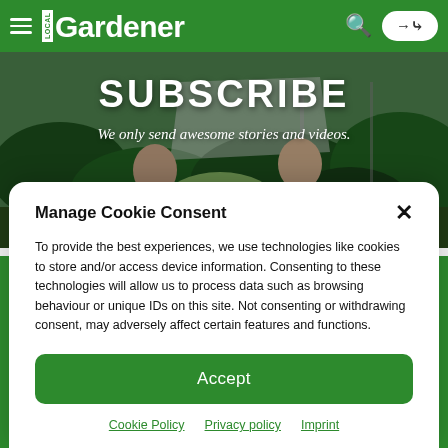Local Gardener
[Figure (photo): Two men holding a large vegetable in a greenhouse garden setting, with plants in the background. Overlaid with bold white text 'SUBSCRIBE' and italic text 'We only send awesome stories and videos.']
SUBSCRIBE
We only send awesome stories and videos.
Manage Cookie Consent
To provide the best experiences, we use technologies like cookies to store and/or access device information. Consenting to these technologies will allow us to process data such as browsing behaviour or unique IDs on this site. Not consenting or withdrawing consent, may adversely affect certain features and functions.
Accept
Cookie Policy   Privacy policy   Imprint